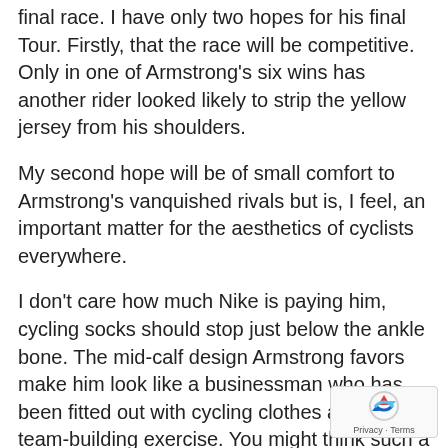final race. I have only two hopes for his final Tour. Firstly, that the race will be competitive. Only in one of Armstrong's six wins has another rider looked likely to strip the yellow jersey from his shoulders.
My second hope will be of small comfort to Armstrong's vanquished rivals but is, I feel, an important matter for the aesthetics of cyclists everywhere.
I don't care how much Nike is paying him, cycling socks should stop just below the ankle bone. The mid-calf design Armstrong favors make him look like a businessman who has been fitted out with cycling clothes as part of a team-building exercise. You might think such a matter trivial, but think about how many beautiful Alpine and Pyrenean
[Figure (logo): reCAPTCHA badge with Privacy and Terms links]